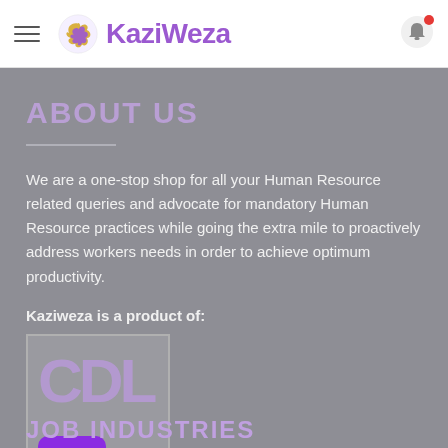KaziWeza
ABOUT US
We are a one-stop shop for all your Human Resource related queries and advocate for mandatory Human Resource practices while going the extra mile to proactively address workers needs in order to achieve optimum productivity.
Kaziweza is a product of:
[Figure (logo): CDL logo box with purple CDL lettering and a purple emoji face icon below]
JOB INDUSTRIES